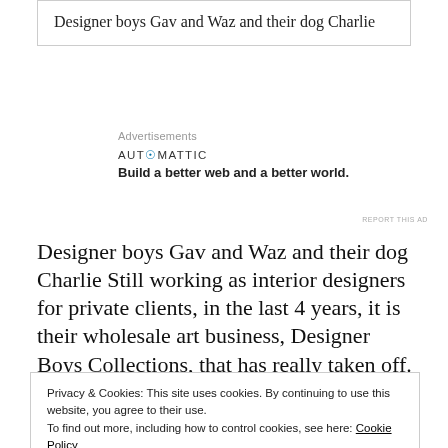Designer boys Gav and Waz and their dog Charlie
Advertisements
[Figure (logo): Automattic logo with tagline: Build a better web and a better world.]
REPORT THIS AD
Designer boys Gav and Waz and their dog Charlie Still working as interior designers for private clients, in the last 4 years, it is their wholesale art business, Designer Boys Collections, that has really taken off.
Privacy & Cookies: This site uses cookies. By continuing to use this website, you agree to their use. To find out more, including how to control cookies, see here: Cookie Policy
forever,' said Gavin  The executive producers